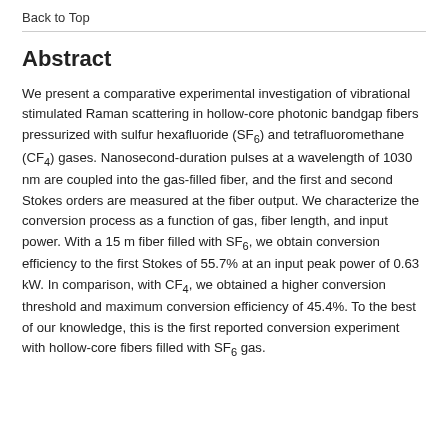Back to Top
Abstract
We present a comparative experimental investigation of vibrational stimulated Raman scattering in hollow-core photonic bandgap fibers pressurized with sulfur hexafluoride (SF6) and tetrafluoromethane (CF4) gases. Nanosecond-duration pulses at a wavelength of 1030 nm are coupled into the gas-filled fiber, and the first and second Stokes orders are measured at the fiber output. We characterize the conversion process as a function of gas, fiber length, and input power. With a 15 m fiber filled with SF6, we obtain conversion efficiency to the first Stokes of 55.7% at an input peak power of 0.63 kW. In comparison, with CF4, we obtained a higher conversion threshold and maximum conversion efficiency of 45.4%. To the best of our knowledge, this is the first reported conversion experiment with hollow-core fibers filled with SF6 gas.